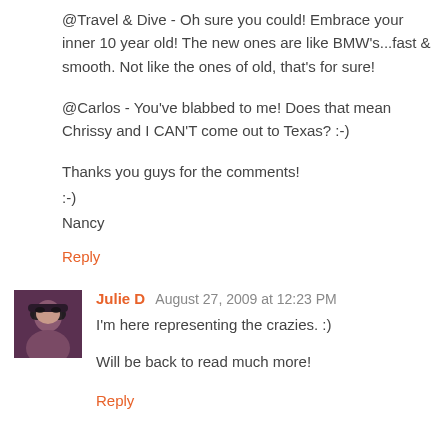@Travel & Dive - Oh sure you could! Embrace your inner 10 year old! The new ones are like BMW's...fast & smooth. Not like the ones of old, that's for sure!

@Carlos - You've blabbed to me! Does that mean Chrissy and I CAN'T come out to Texas? :-)

Thanks you guys for the comments!
:-)
Nancy
Reply
[Figure (photo): Avatar photo of Julie D - woman with dark hair and sunglasses]
Julie D  August 27, 2009 at 12:23 PM
I'm here representing the crazies. :)

Will be back to read much more!
Reply